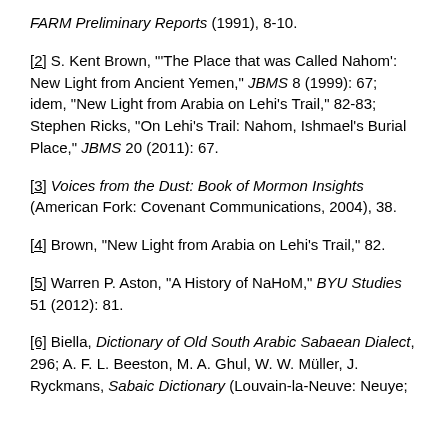FARM Preliminary Reports (1991), 8-10.
[2] S. Kent Brown, "'The Place that was Called Nahom': New Light from Ancient Yemen," JBMS 8 (1999): 67; idem, "New Light from Arabia on Lehi's Trail," 82-83; Stephen Ricks, "On Lehi's Trail: Nahom, Ishmael's Burial Place," JBMS 20 (2011): 67.
[3] Voices from the Dust: Book of Mormon Insights (American Fork: Covenant Communications, 2004), 38.
[4] Brown, "New Light from Arabia on Lehi's Trail," 82.
[5] Warren P. Aston, "A History of NaHoM," BYU Studies 51 (2012): 81.
[6] Biella, Dictionary of Old South Arabic Sabaean Dialect, 296; A. F. L. Beeston, M. A. Ghul, W. W. Müller, J. Ryckmans, Sabaic Dictionary (Louvain-la-Neuve: